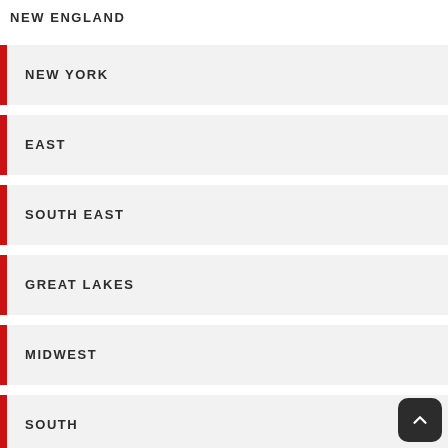NEW ENGLAND
NEW YORK
EAST
SOUTH EAST
GREAT LAKES
MIDWEST
SOUTH